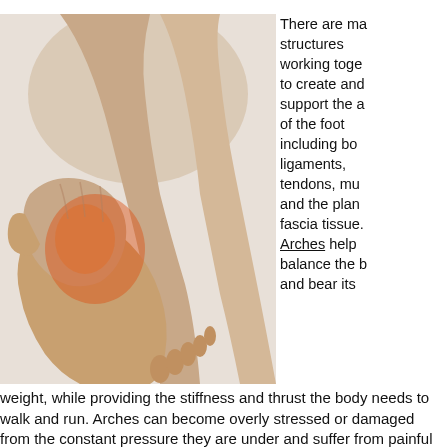[Figure (photo): A person's hand grasping and massaging their foot/ankle area, with an orange/red highlight indicating pain around the arch and heel region. Light background.]
There are many structures working together to create and support the arch of the foot including bones, ligaments, tendons, muscles and the plantar fascia tissue. Arches help balance the body and bear its weight, while providing the stiffness and thrust the body needs to walk and run. Arches can become overly stressed or damaged from the constant pressure they are under and suffer from painful muscle strains, ligament sprains, stress fractures and inflammatory arthritis. Arch pain may even be caused by direct trauma or inflammation of the tissue on the bottom of the feet that support the arch (plantar fasciitis). If you are experiencing arch pain, it is a good idea to make an appointment with a podiatrist. The course of treatment for your